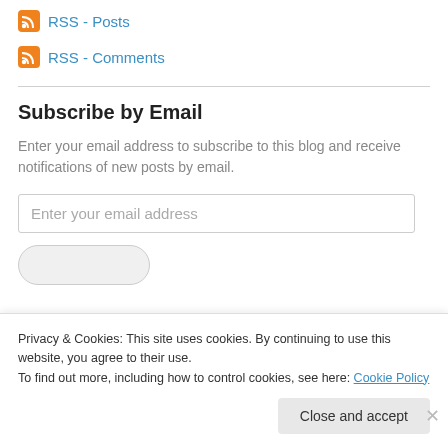RSS - Posts
RSS - Comments
Subscribe by Email
Enter your email address to subscribe to this blog and receive notifications of new posts by email.
Privacy & Cookies: This site uses cookies. By continuing to use this website, you agree to their use. To find out more, including how to control cookies, see here: Cookie Policy